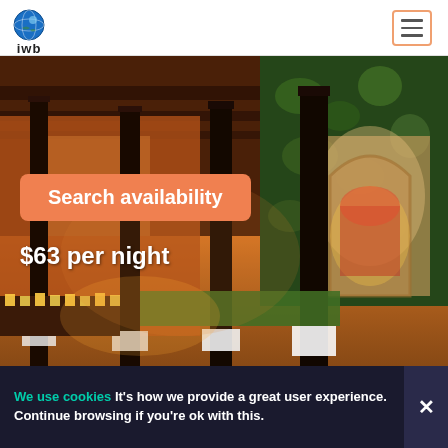iwb
[Figure (photo): Hotel corridor with warm amber lighting, dark wooden columns, green ivy-covered walls, grass courtyard, and an illuminated decorative fountain/shrine with red and orange décor. Style: colonial Spanish-Guatemalan architecture at night.]
Search availability
$63 per night
We use cookies It's how we provide a great user experience. Continue browsing if you're ok with this.
Antigua Guatemala, Guatemala - 5A Ave Sur#11-0